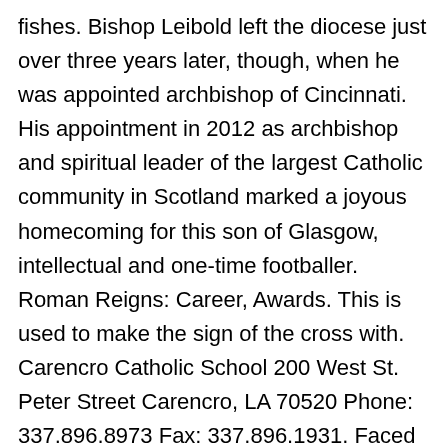fishes. Bishop Leibold left the diocese just over three years later, though, when he was appointed archbishop of Cincinnati. His appointment in 2012 as archbishop and spiritual leader of the largest Catholic community in Scotland marked a joyous homecoming for this son of Glasgow, intellectual and one-time footballer. Roman Reigns: Career, Awards. This is used to make the sign of the cross with. Carencro Catholic School 200 West St. Peter Street Carencro, LA 70520 Phone: 337.896.8973 Fax: 337.896.1931. Faced with a declining number of priests and demographic shifts, the diocese began a formal planning process beginning in 2009 to allocate resources for the future. How do Catholics worship God? Called to the priesthood, he studied at St Vincent's College, Langbank, and Blairs College, Aberdeen, with ecclesiastical studies completed at the Pontifical